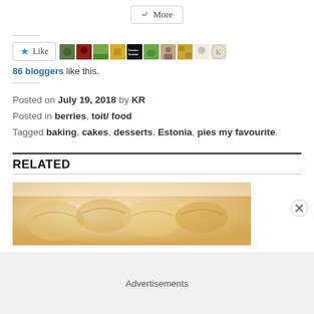[Figure (screenshot): A 'More' share button with share icon]
[Figure (screenshot): A 'Like' button with star icon followed by a row of small blogger avatar thumbnails]
86 bloggers like this.
Posted on July 19, 2018 by KR
Posted in berries, toit/ food
Tagged baking, cakes, desserts, Estonia, pies my favourite.
RELATED
[Figure (photo): Close-up of pastry/dumpling food items with golden/beige tones]
Advertisements